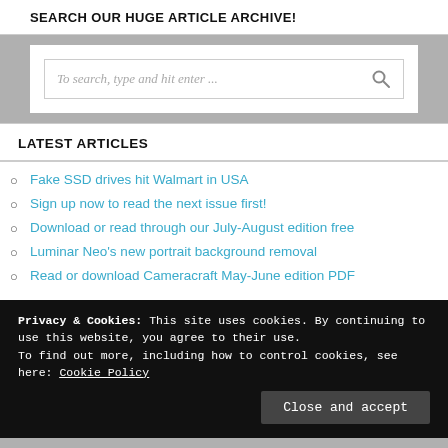SEARCH OUR HUGE ARTICLE ARCHIVE!
To search, type and hit enter ...
LATEST ARTICLES
Fake SSD drives hit Walmart in USA
Sign up now to read the next issue first!
Download or read through our July-August edition free
Luminar Neo's new portrait background removal
Read or download Cameracraft May-June edition PDF
Privacy & Cookies: This site uses cookies. By continuing to use this website, you agree to their use. To find out more, including how to control cookies, see here: Cookie Policy
Close and accept